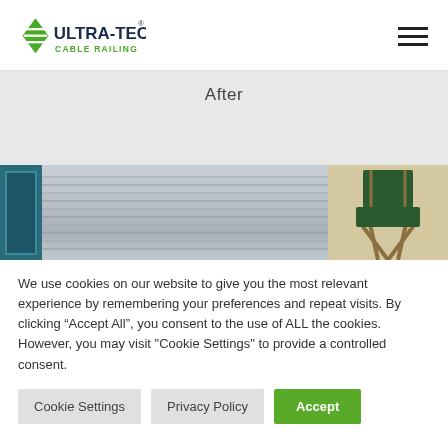[Figure (logo): Ultra-Tec Cable Railing logo with green diamond/arrow icon and dark blue bold text]
After
[Figure (photo): Photo strip showing cable railing installation: teal panel on left, horizontal cable railing in center, director's chair on right with beige/cream background]
We use cookies on our website to give you the most relevant experience by remembering your preferences and repeat visits. By clicking “Accept All”, you consent to the use of ALL the cookies. However, you may visit "Cookie Settings" to provide a controlled consent.
Cookie Settings
Privacy Policy
Accept